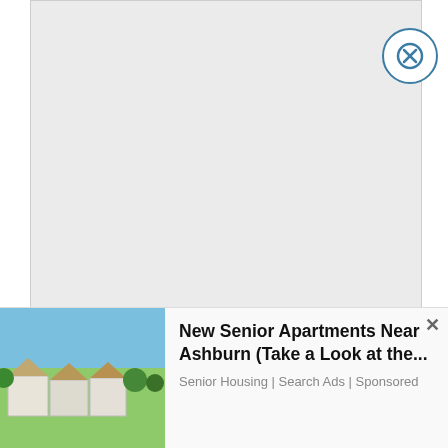[Figure (other): Gray placeholder rectangle for an image or video, with a circular close (X) button in the top-right corner]
According to Sasha, Felty snapping the photos of Sasha crawling around "like a
[Figure (screenshot): BitLife - Life Simulator advertisement banner with animated baby character, 'Ad' badge, 'GOD MODE' badge, BitLife app icon, and app name]
[Figure (screenshot): New Senior Apartments Near Ashburn advertisement with photo of residential buildings and text: 'New Senior Apartments Near Ashburn (Take a Look at the...' and 'Senior Housing | Search Ads | Sponsored']